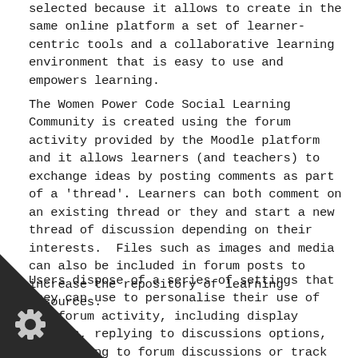selected because it allows to create in the same online platform a set of learner-centric tools and a collaborative learning environment that is easy to use and empowers learning.
The Women Power Code Social Learning Community is created using the forum activity provided by the Moodle platform and it allows learners (and teachers) to exchange ideas by posting comments as part of a 'thread'. Learners can both comment on an existing thread or they and start a new thread of discussion depending on their interests.  Files such as images and media can also be included in forum posts to increase the repository of learning resources.
Users dispose of a series of settings that they can use to personalise their use of the forum activity, including display options, replying to discussions options, subscribing to forum discussions or track read and unread forum posts.
[Figure (illustration): Dark triangular corner decoration in the bottom-left with a gear/cog icon]